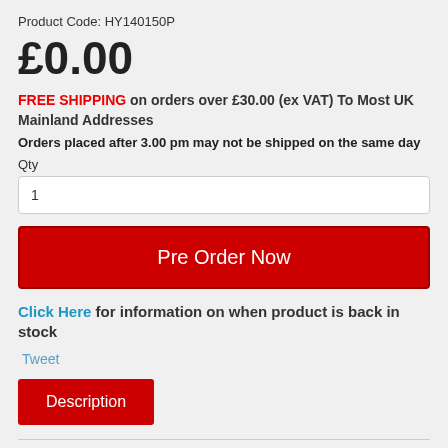Product Code: HY140150P
£0.00
FREE SHIPPING on orders over £30.00 (ex VAT) To Most UK Mainland Addresses
Orders placed after 3.00 pm may not be shipped on the same day
Qty
1
Pre Order Now
Click Here for information on when product is back in stock
Tweet
Description
The HY140150P is a heavy duty, industrial grade petrol engine air compressor from Hyundai, which is for the first time being built and assembled in the UK. Along with the it's sister